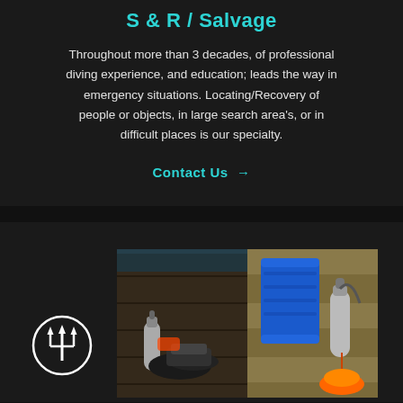S & R / Salvage
Throughout more than 3 decades, of professional diving experience, and education; leads the way in emergency situations. Locating/Recovery of people or objects, in large search area's, or in difficult places is our specialty.
Contact Us →
[Figure (photo): Two side-by-side photos of diving equipment on a wooden dock. Left photo shows tanks, fins, and gear. Right photo shows a blue barrel, scuba tank, and orange lift bag.]
[Figure (logo): Circular icon with a trident symbol (Poseidon/Neptune trident) in white on dark background.]